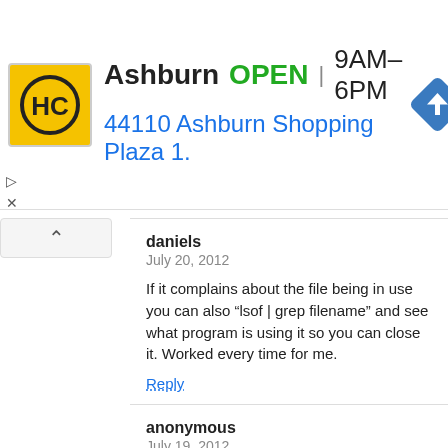[Figure (screenshot): Advertisement banner for Hairclub Ashburn location showing logo, OPEN status, hours 9AM-6PM, address 44110 Ashburn Shopping Plaza 1., and navigation icon]
daniels
July 20, 2012

If it complains about the file being in use you can also “lsof | grep filename” and see what program is using it so you can close it. Worked every time for me.

Reply
anonymous
July 19, 2012

just press Command Option Shift and Delete and it will empty the trash even if the file is owned by another user

Reply
ian4c